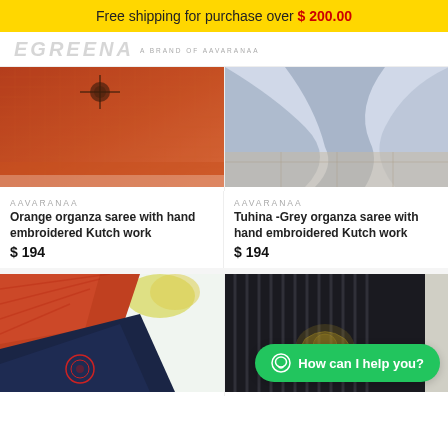Free shipping for purchase over $ 200.00
[Figure (logo): EGREENA / A BRAND OF AAVARANAA logo]
[Figure (photo): Orange organza saree with hand embroidered Kutch work - product photo]
AAVARANAA
Orange organza saree with hand embroidered Kutch work
$ 194
[Figure (photo): Tuhina - Grey organza saree with hand embroidered Kutch work - product photo]
AAVARANAA
Tuhina -Grey organza saree with hand embroidered Kutch work
$ 194
[Figure (photo): Bottom left product photo - orange and dark blue fabric]
[Figure (photo): Bottom right product photo - dark fabric with gold print design]
How can I help you?